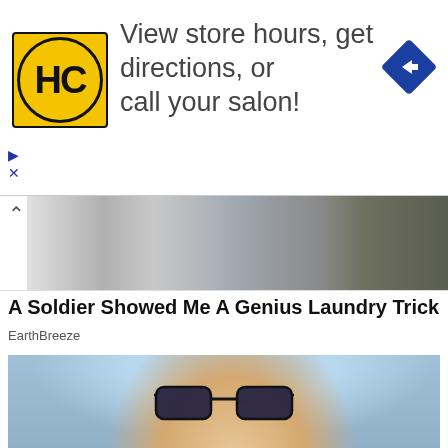[Figure (screenshot): Advertisement banner for Great Clips (HC logo in yellow circle) with text 'View store hours, get directions, or call your salon!' and a blue navigation arrow icon. Small play and close icons at bottom left.]
[Figure (photo): Thumbnail strip of a sponsored content ad showing laundry-related and military camouflage images, with a chevron/up arrow on the left.]
A Soldier Showed Me A Genius Laundry Trick
EarthBreeze
[Figure (photo): Photo of a blonde woman wearing large dark-rimmed glasses and sparkly earrings, speaking, with a blue and wood-toned studio background.]